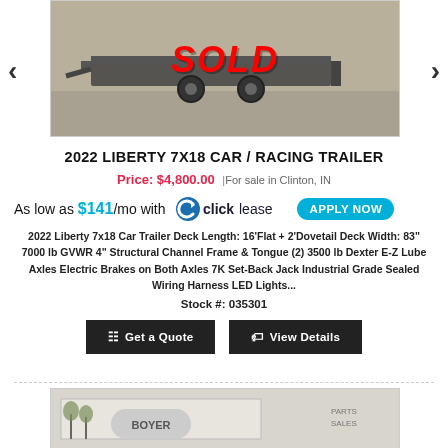[Figure (photo): Photo of a car/racing trailer with a red SOLD overlay text stamp]
2022 LIBERTY 7X18 CAR / RACING TRAILER
Price: $4,800.00 | For sale in Clinton, IN
As low as $141/mo with clicklease APPLY NOW
2022 Liberty 7x18 Car Trailer Deck Length: 16'Flat + 2'Dovetail Deck Width: 83" 7000 lb GVWR 4" Structural Channel Frame & Tongue (2) 3500 lb Dexter E-Z Lube Axles Electric Brakes on Both Axles 7K Set-Back Jack Industrial Grade Sealed Wiring Harness LED Lights...
Stock #: 035301
Get a Quote | View Details
[Figure (photo): Partial bottom photo of a Boyer dealership building]